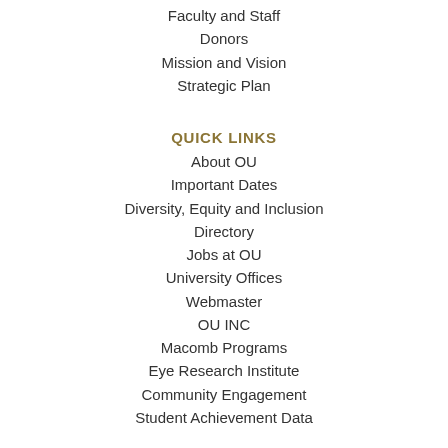Faculty and Staff
Donors
Mission and Vision
Strategic Plan
QUICK LINKS
About OU
Important Dates
Diversity, Equity and Inclusion
Directory
Jobs at OU
University Offices
Webmaster
OU INC
Macomb Programs
Eye Research Institute
Community Engagement
Student Achievement Data